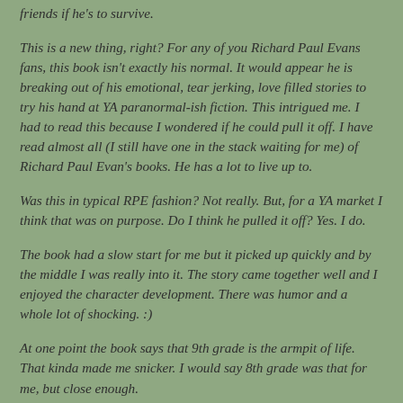friends if he's to survive.
This is a new thing, right?  For any of you Richard Paul Evans fans, this book isn't exactly his normal.  It would appear he is breaking out of his emotional, tear jerking, love filled stories to try his hand at YA paranormal-ish fiction.  This intrigued me.  I had to read this because I wondered if he could pull it off.  I have read almost all (I still have one in the stack waiting for me) of Richard Paul Evan's books.  He has a lot to live up to.
Was this in typical RPE fashion?  Not really.  But, for a YA market I think that was on purpose.  Do I think he pulled it off?  Yes.  I do.
The book had a slow start for me but it picked up quickly and by the middle I was really into it.  The story came together well and I enjoyed the character development.  There was humor and a whole lot of shocking.  :)
At one point the book says that 9th grade is the armpit of life.  That kinda made me snicker.  I would say 8th grade was that for me, but close enough.